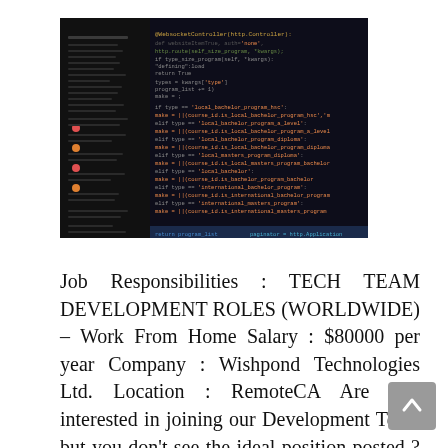[Figure (photo): A close-up photo of computer monitors displaying colorful programming code on dark backgrounds, with orange, cyan, yellow, and green syntax-highlighted code visible.]
Job Responsibilities : TECH TEAM DEVELOPMENT ROLES (WORLDWIDE) – Work From Home Salary : $80000 per year Company : Wishpond Technologies Ltd. Location : RemoteCA Are you interested in joining our Development Team but you don't see the ideal position posted ? Or do you have great skills and not sure where would